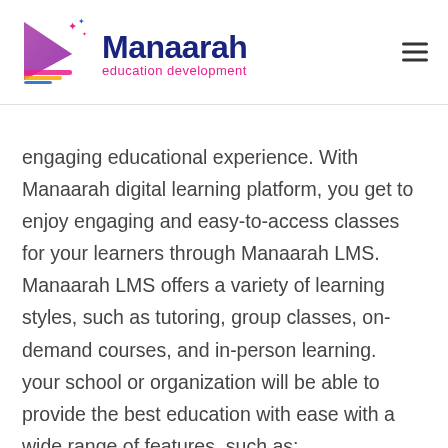[Figure (logo): Manaarah education development logo with a play button icon and colorful book design]
engaging educational experience. With Manaarah digital learning platform, you get to enjoy engaging and easy-to-access classes for your learners through Manaarah LMS. Manaarah LMS offers a variety of learning styles, such as tutoring, group classes, on-demand courses, and in-person learning. your school or organization will be able to provide the best education with ease with a wide range of features, such as: